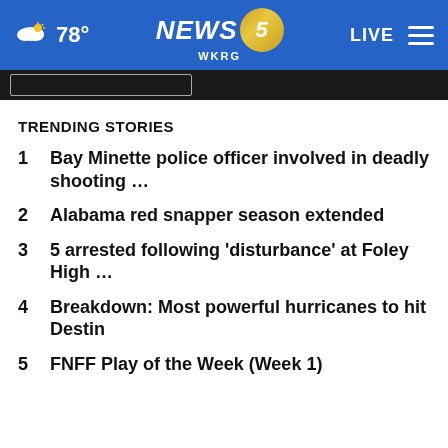78° NEWS 5 WKRG LIVE
TRENDING STORIES
1 Bay Minette police officer involved in deadly shooting ...
2 Alabama red snapper season extended
3 5 arrested following 'disturbance' at Foley High ...
4 Breakdown: Most powerful hurricanes to hit Destin
5 FNFF Play of the Week (Week 1)